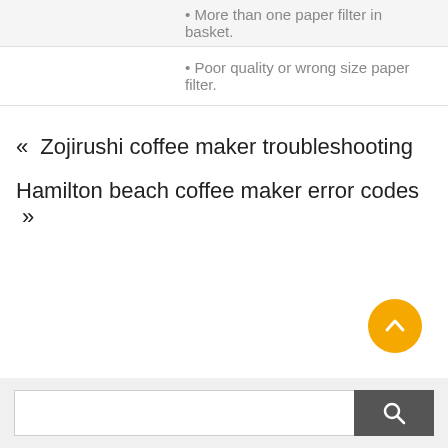• More than one paper filter in basket.
• Poor quality or wrong size paper filter.
« Zojirushi coffee maker troubleshooting
Hamilton beach coffee maker error codes »
[Figure (other): Orange circular scroll-to-top button with upward chevron arrow]
[Figure (other): Search bar with text input and dark search button with magnifying glass icon]